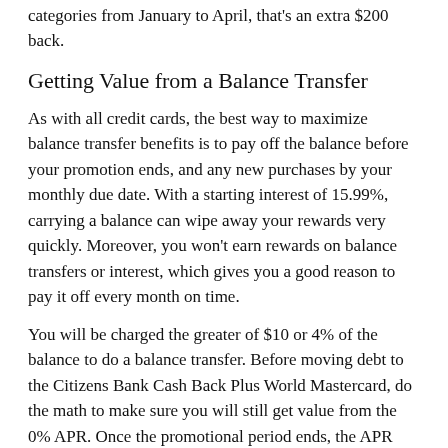categories from January to April, that's an extra $200 back.
Getting Value from a Balance Transfer
As with all credit cards, the best way to maximize balance transfer benefits is to pay off the balance before your promotion ends, and any new purchases by your monthly due date. With a starting interest of 15.99%, carrying a balance can wipe away your rewards very quickly. Moreover, you won't earn rewards on balance transfers or interest, which gives you a good reason to pay it off every month on time.
You will be charged the greater of $10 or 4% of the balance to do a balance transfer. Before moving debt to the Citizens Bank Cash Back Plus World Mastercard, do the math to make sure you will still get value from the 0% APR. Once the promotional period ends, the APR will jump to the same as the spending rate, between 15.99% and 23.99%.
Getting Value from World Mastercard Benefits